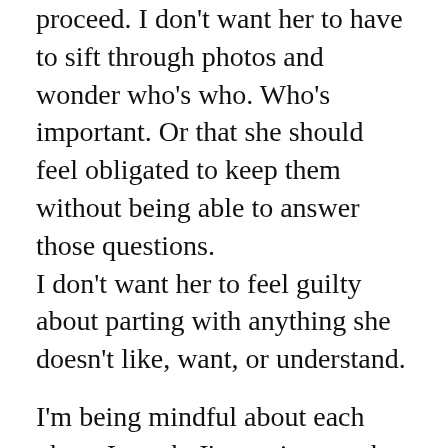proceed. I don't want her to have to sift through photos and wonder who's who. Who's important. Or that she should feel obligated to keep them without being able to answer those questions. I don't want her to feel guilty about parting with anything she doesn't like, want, or understand.

I'm being mindful about each photo I touch. I'm saving much more than I'm actually inclined to, simply because I want to give Thing 2 the opportunity to touch these same photos and see if they mean anything to her. One example is a letter my great uncle sent to Grandaddy and my grandmother in 1948. My mom was about to celebrate her 3rd birthday and my great uncle was sending pics of being in the army. That was what actually initiated the four and a half hour call to Thing 2. I'm saving all correspondence for her now, so she can see the